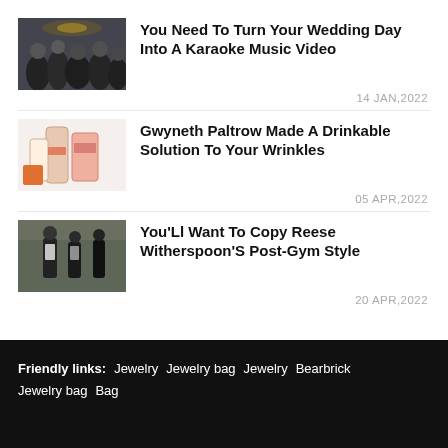[Figure (photo): Thumbnail photo of people at a wedding or karaoke event]
You Need To Turn Your Wedding Day Into A Karaoke Music Video
14 JAN,2022
[Figure (photo): Thumbnail photo of beauty/skincare product with pink packaging]
Gwyneth Paltrow Made A Drinkable Solution To Your Wrinkles
05 APR,2022
[Figure (photo): Thumbnail photo of Reese Witherspoon in gym attire]
You'Ll Want To Copy Reese Witherspoon'S Post-Gym Style
20 APR,2022
Friendly links:  Jewelry  Jewelry bag  Jewelry  Bearbrick  Jewelry bag  Bag